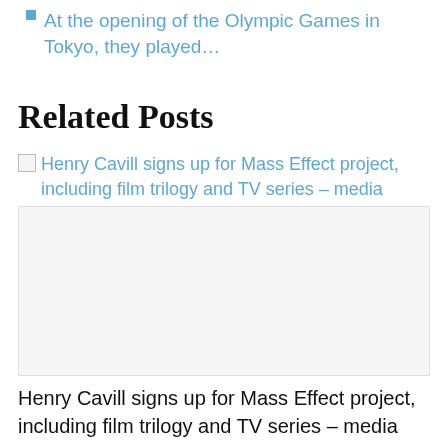At the opening of the Olympic Games in Tokyo, they played…
Related Posts
[Figure (screenshot): Broken image placeholder with blue link text: Henry Cavill signs up for Mass Effect project, including film trilogy and TV series – media, followed by a large blank image area]
Henry Cavill signs up for Mass Effect project, including film trilogy and TV series – media
[Figure (screenshot): Broken image placeholder followed by partially visible blue link text beginning with 'Out of the water: The str...']